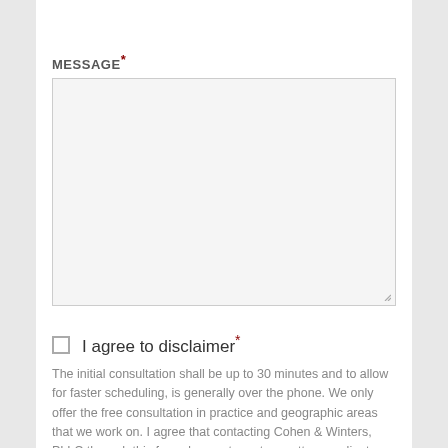MESSAGE*
[Figure (other): Empty textarea input field with light gray background and resize handle in bottom-right corner]
I agree to disclaimer*
The initial consultation shall be up to 30 minutes and to allow for faster scheduling, is generally over the phone. We only offer the free consultation in practice and geographic areas that we work on. I agree that contacting Cohen & Winters, PLLC through this form does not create an attorney-client relationship. Any